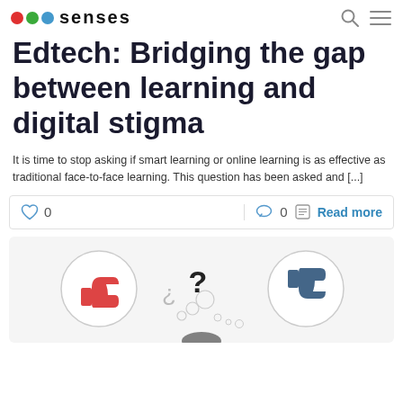senses
Edtech: Bridging the gap between learning and digital stigma
It is time to stop asking if smart learning or online learning is as effective as traditional face-to-face learning. This question has been asked and [...]
0   0   Read more
[Figure (illustration): Illustration showing a person thinking with thought bubbles containing a thumbs up icon (red), question marks, and a thumbs down icon (dark blue), representing the debate around online vs traditional learning.]